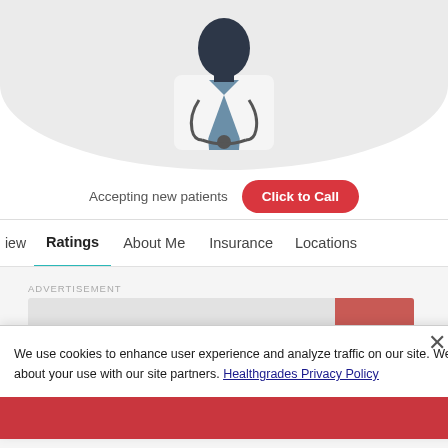[Figure (photo): Silhouette illustration of a male doctor wearing a white coat and stethoscope, centered at the top of the page against a light gray circular background.]
Accepting new patients
Click to Call
iew   Ratings   About Me   Insurance   Locations
ADVERTISEMENT
We use cookies to enhance user experience and analyze traffic on our site. We also share information about your use with our site partners. Healthgrades Privacy Policy
rs Today